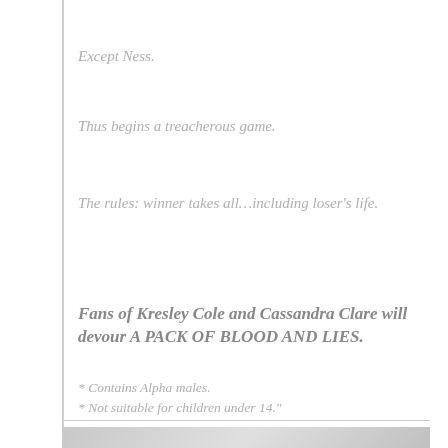Except Ness.
Thus begins a treacherous game.
The rules: winner takes all…including loser's life.
Fans of Kresley Cole and Cassandra Clare will devour A PACK OF BLOOD AND LIES.
* Contains Alpha males.
* Not suitable for children under 14."
[Figure (photo): Partial photo at bottom of page, partially visible]